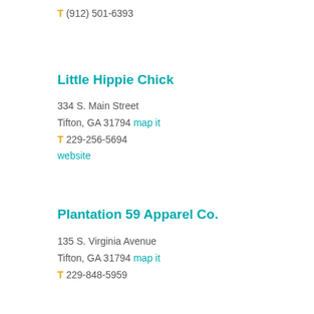T (912) 501-6393
Little Hippie Chick
334 S. Main Street
Tifton, GA 31794 map it
T 229-256-5694
website
Plantation 59 Apparel Co.
135 S. Virginia Avenue
Tifton, GA 31794 map it
T 229-848-5959